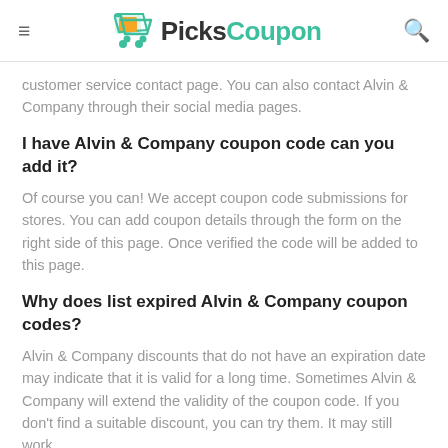PicksCoupon
customer service contact page. You can also contact Alvin & Company through their social media pages.
I have Alvin & Company coupon code can you add it?
Of course you can! We accept coupon code submissions for stores. You can add coupon details through the form on the right side of this page. Once verified the code will be added to this page.
Why does list expired Alvin & Company coupon codes?
Alvin & Company discounts that do not have an expiration date may indicate that it is valid for a long time. Sometimes Alvin & Company will extend the validity of the coupon code. If you don't find a suitable discount, you can try them. It may still work.